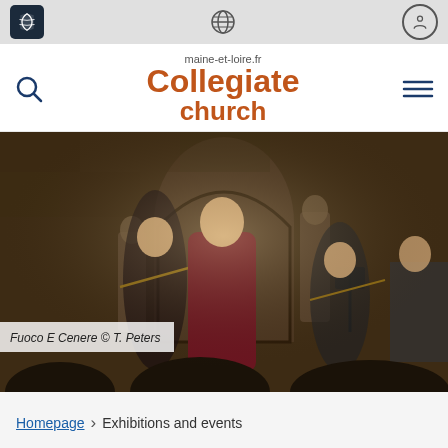maine-et-loire.fr Collegiate church
[Figure (photo): Musicians performing in a historic stone church setting. A female singer in a burgundy dress stands center stage singing into a microphone, flanked by violin players. Stone statues and an arched alcove are visible in the background.]
Fuoco E Cenere © T. Peters
Homepage > Exhibitions and events